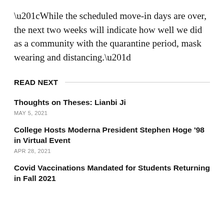“While the scheduled move-in days are over, the next two weeks will indicate how well we did as a community with the quarantine period, mask wearing and distancing.”
READ NEXT
Thoughts on Theses: Lianbi Ji
MAY 5, 2021
College Hosts Moderna President Stephen Hoge ’98 in Virtual Event
APR 28, 2021
Covid Vaccinations Mandated for Students Returning in Fall 2021